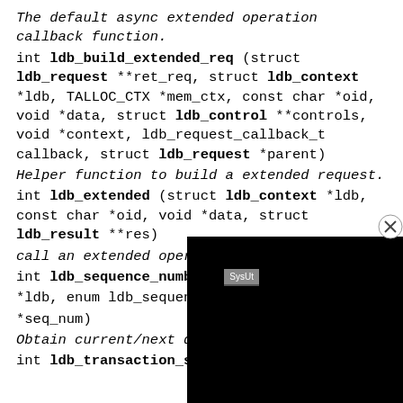The default async extended operation callback function.
int ldb_build_extended_req (struct ldb_request **ret_req, struct ldb_context *ldb, TALLOC_CTX *mem_ctx, const char *oid, void *data, struct ldb_control **controls, void *context, ldb_request_callback_t callback, struct ldb_request *parent)
Helper function to build a extended request.
int ldb_extended (struct ldb_context *ldb, const char *oid, void *data, struct ldb_result **res)
call an extended operation
int ldb_sequence_number
*ldb, enum ldb_sequence_
*seq_num)
Obtain current/next data
int ldb_transaction_sta